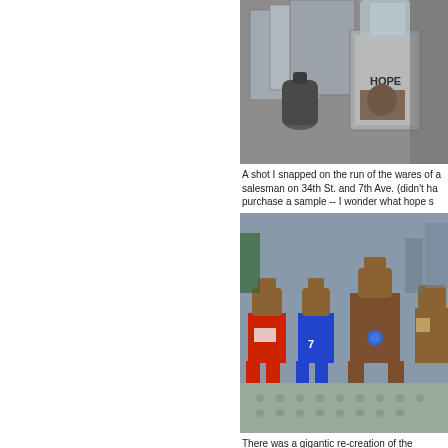[Figure (photo): Close-up photo of fragrance/cologne boxes labeled HOPE with a dark bottle in the foreground, shot on the run from a street salesman on 34th St. and 7th Ave.]
A shot I snapped on the run of the wares of a salesman on 34th St. and 7th Ave. (didn't have time to purchase a sample -- I wonder what hope s
[Figure (photo): Lego re-creation of the inauguration scene featuring Lego figures in various colored outfits arranged on a Lego baseplate.]
There was a gigantic re-creation of the inauguration at Legoland. Check the slideshow over at the C. My favorite tableaus are the line of people w portapotties and 'Retha and her bosoms. (P